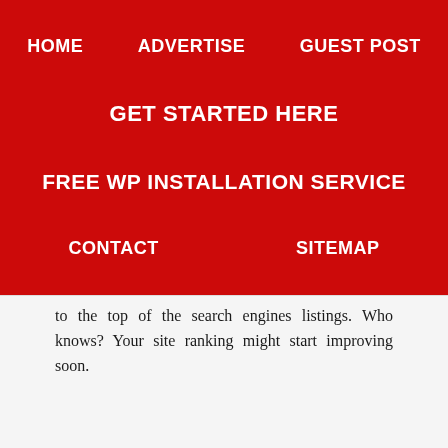HOME   ADVERTISE   GUEST POST
GET STARTED HERE
FREE WP INSTALLATION SERVICE
CONTACT   SITEMAP
to the top of the search engines listings. Who knows? Your site ranking might start improving soon.